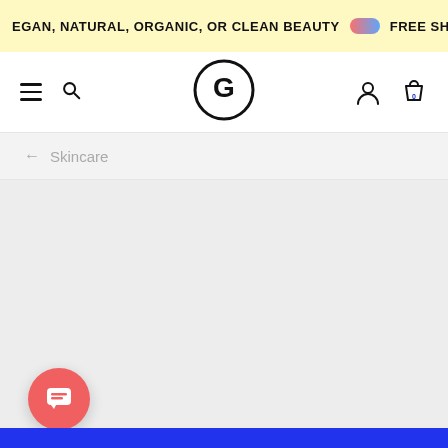VEGAN, NATURAL, ORGANIC, OR CLEAN BEAUTY  FREE SHIPPI
[Figure (screenshot): Website navigation bar with hamburger menu, search icon, circular G logo, user icon, and shopping bag icon with 0 badge]
← Skincare
[Figure (illustration): Large empty grey content area with a red circular chat button in the lower left, and a blue strip at the very bottom]